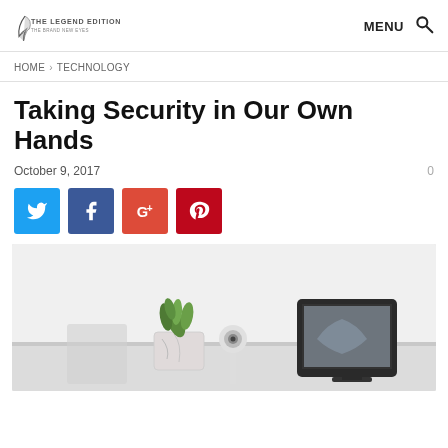THE LEGEND EDITION — MENU
HOME > TECHNOLOGY
Taking Security in Our Own Hands
October 9, 2017
[Figure (infographic): Four social share buttons: Twitter (blue), Facebook (dark blue), Google+ (red-orange), Pinterest (dark red), each showing the respective icon]
[Figure (photo): Photo of a home security camera, a potted succulent plant, and a tablet/smart display device on a white desk surface]